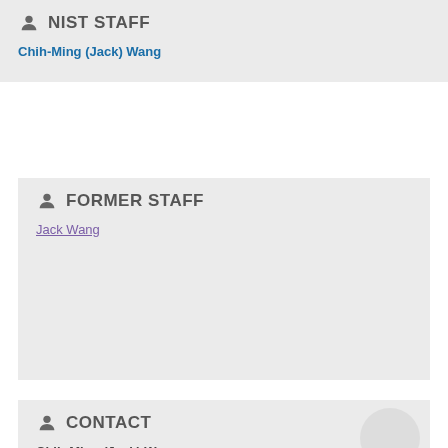NIST STAFF
Chih-Ming (Jack) Wang
FORMER STAFF
Jack Wang
CONTACT
Chih-Ming (Jack) Wang